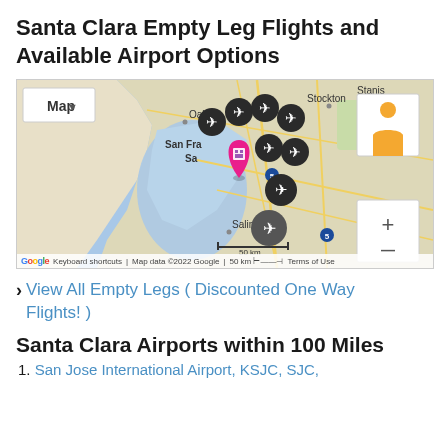Santa Clara Empty Leg Flights and Available Airport Options
[Figure (map): Google Map showing San Francisco Bay Area with airport markers (airplane icons) around Santa Clara/San Jose area, and a pink location pin for Santa Clara. Cities labeled include Oakland, San Francisco, Stockton, Salinas. Map data ©2022 Google, 50 km scale bar shown.]
View All Empty Legs ( Discounted One Way Flights! )
Santa Clara Airports within 100 Miles
1. San Jose International Airport, KSJC, SJC,